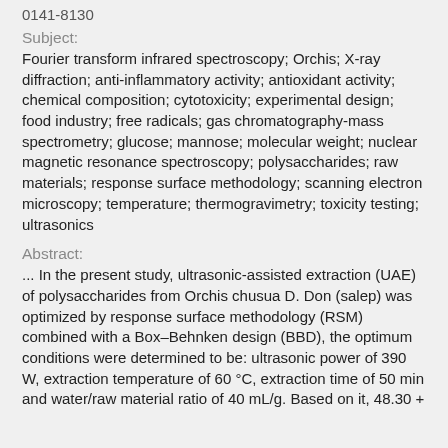0141-8130
Subject:
Fourier transform infrared spectroscopy; Orchis; X-ray diffraction; anti-inflammatory activity; antioxidant activity; chemical composition; cytotoxicity; experimental design; food industry; free radicals; gas chromatography-mass spectrometry; glucose; mannose; molecular weight; nuclear magnetic resonance spectroscopy; polysaccharides; raw materials; response surface methodology; scanning electron microscopy; temperature; thermogravimetry; toxicity testing; ultrasonics
Abstract:
... In the present study, ultrasonic-assisted extraction (UAE) of polysaccharides from Orchis chusua D. Don (salep) was optimized by response surface methodology (RSM) combined with a Box–Behnken design (BBD), the optimum conditions were determined to be: ultrasonic power of 390 W, extraction temperature of 60 °C, extraction time of 50 min and water/raw material ratio of 40 mL/g. Based on it, 48.30 +